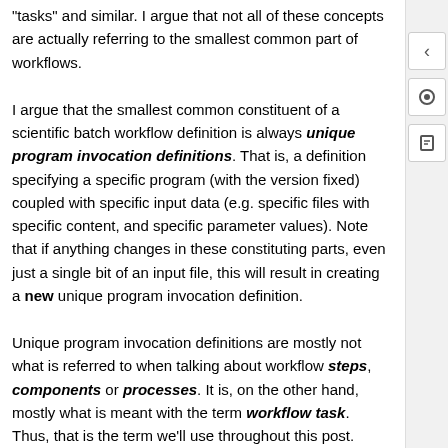"tasks" and similar. I argue that not all of these concepts are actually referring to the smallest common part of workflows.
I argue that the smallest common constituent of a scientific batch workflow definition is always unique program invocation definitions. That is, a definition specifying a specific program (with the version fixed) coupled with specific input data (e.g. specific files with specific content, and specific parameter values). Note that if anything changes in these constituting parts, even just a single bit of an input file, this will result in creating a new unique program invocation definition.
Unique program invocation definitions are mostly not what is referred to when talking about workflow steps, components or processes. It is, on the other hand, mostly what is meant with the term workflow task. Thus, that is the term we'll use throughout this post.
Building on the smallest constituting part
Now that we have defined the smallest constituent of a workflow definition, it is much easier to try to identify various larger constructs that builds upon this concept.